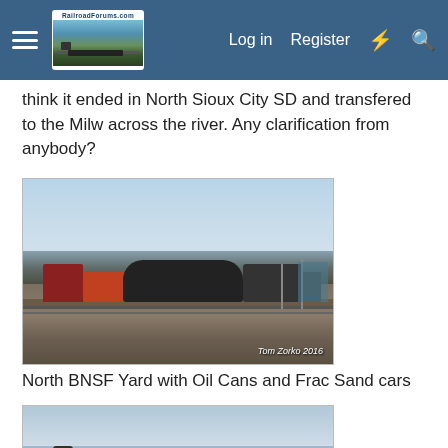RailroadForums.com - Log in Register
think it ended in North Sioux City SD and transfered to the Milw across the river. Any clarification from anybody?
[Figure (photo): North BNSF Yard with oil cans (tank cars) and frac sand cars on the tracks. Photo credit: Tom Zorko 2016]
North BNSF Yard with Oil Cans and Frac Sand cars
[Figure (photo): Outdoor scene with trees and sky, partial view of another train photo]